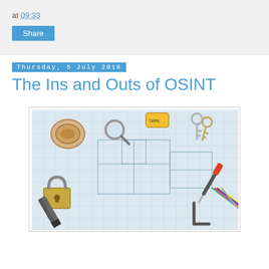at 09:33
Share
Thursday, 5 July 2018
The Ins and Outs of OSINT
[Figure (photo): Overhead photo of various tools and hardware items (padlock, keys, pliers, screwdrivers, wires, magnifying glass, tape measure) laid out on top of architectural blueprint drawings]